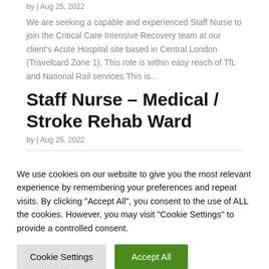by | Aug 25, 2022
We are seeking a capable and experienced Staff Nurse to join the Critical Care Intensive Recovery team at our client's Acute Hospital site based in Central London (Travelcard Zone 1). This role is within easy reach of TfL and National Rail services.This is...
Staff Nurse – Medical / Stroke Rehab Ward
by | Aug 25, 2022
We use cookies on our website to give you the most relevant experience by remembering your preferences and repeat visits. By clicking "Accept All", you consent to the use of ALL the cookies. However, you may visit "Cookie Settings" to provide a controlled consent.